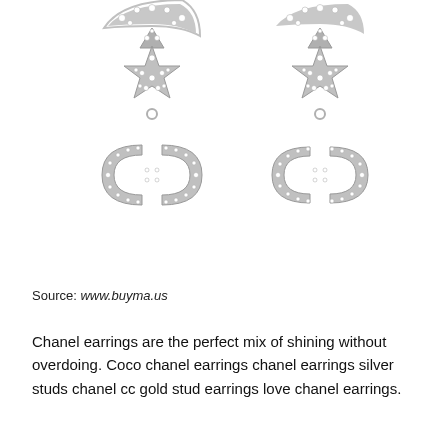[Figure (photo): Two Chanel crystal drop earrings side by side. Each earring features a crescent moon top with crystals, a star charm covered in rhinestones, and a dangling CC logo pendant encrusted with small round crystals. Silver metal tone throughout.]
Source: www.buyma.us
Chanel earrings are the perfect mix of shining without overdoing. Coco chanel earrings chanel earrings silver studs chanel cc gold stud earrings love chanel earrings.